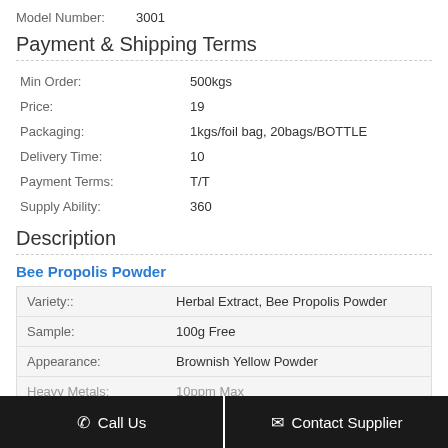Model Number: 3001
Payment & Shipping Terms
| Min Order: | 500kgs |
| Price: | 19 |
| Packaging: | 1kgs/foil bag, 20bags/BOTTLE |
| Delivery Time: | 10 |
| Payment Terms: | T/T |
| Supply Ability: | 360 |
Description
Bee Propolis Powder
| Variety:: | Herbal Extract, Bee Propolis Powder |
| Sample: | 100g Free |
| Appearance: | Brownish Yellow Powder |
| Heavy Metals: | 10ppm Max |
Call Us | Contact Supplier